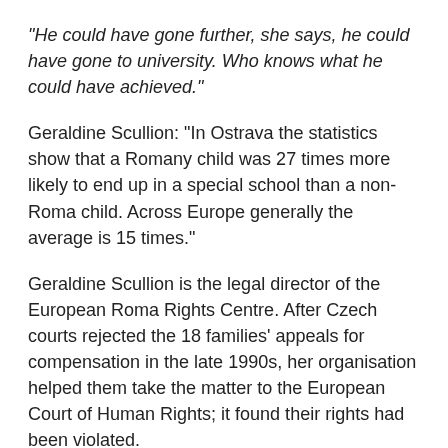“He could have gone further, she says, he could have gone to university. Who knows what he could have achieved.”
Geraldine Scullion: “In Ostrava the statistics show that a Romany child was 27 times more likely to end up in a special school than a non-Roma child. Across Europe generally the average is 15 times.”
Geraldine Scullion is the legal director of the European Roma Rights Centre. After Czech courts rejected the 18 families’ appeals for compensation in the late 1990s, her organisation helped them take the matter to the European Court of Human Rights; it found their rights had been violated.
“They said in practice what is happening is you’re not remedying at all…or you’re not addressing at all the